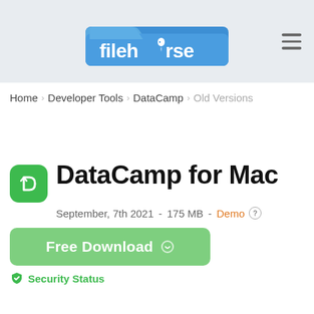[Figure (logo): Filehorse logo — blue folder icon with white 'filehorse' text — on a light grey header bar with hamburger menu icon on the right]
Home > Developer Tools > DataCamp > Old Versions
DataCamp for Mac
September, 7th 2021  -  175 MB  -  Demo
Free Download
Security Status